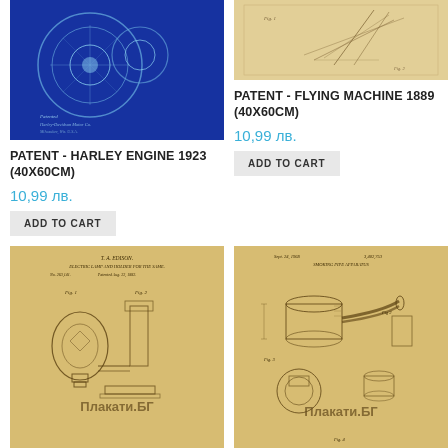[Figure (photo): Patent drawing of Harley Engine 1923 on blue blueprint background]
PATENT - HARLEY ENGINE 1923 (40X60CM)
10,99 лв.
ADD TO CART
[Figure (photo): Patent drawing of Flying Machine 1889 on vintage parchment background]
PATENT - FLYING MACHINE 1889 (40X60CM)
10,99 лв.
ADD TO CART
[Figure (photo): T.L. Edison electric lamp and holder patent drawing on vintage parchment with Плакати.БГ watermark]
[Figure (photo): Smoking pipe apparatus patent drawing on vintage parchment with Плакати.БГ watermark]